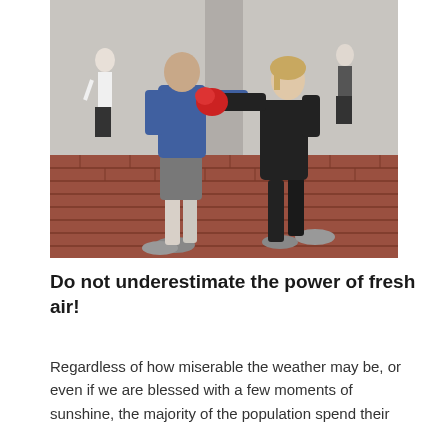[Figure (photo): Two people doing a boxing workout outdoors on a brick patio. One person in a blue shirt and grey shorts holds pads, while another person in black workout clothes and red boxing gloves punches. Other people exercising are visible in the background.]
Do not underestimate the power of fresh air!
Regardless of how miserable the weather may be, or even if we are blessed with a few moments of sunshine, the majority of the population spend their